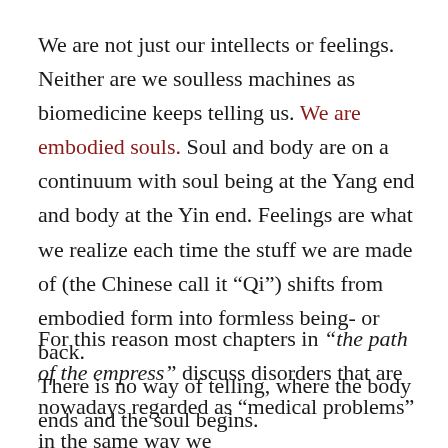We are not just our intellects or feelings. Neither are we soulless machines as biomedicine keeps telling us. We are embodied souls. Soul and body are on a continuum with soul being at the Yang end and body at the Yin end. Feelings are what we realize each time the stuff we are made of (the Chinese call it “Qi”) shifts from embodied form into formless being- or back. There is no way of telling, where the body ends and the soul begins.
For this reason most chapters in “the path of the empress” discuss disorders that are nowadays regarded as “medical problems” in the same way we